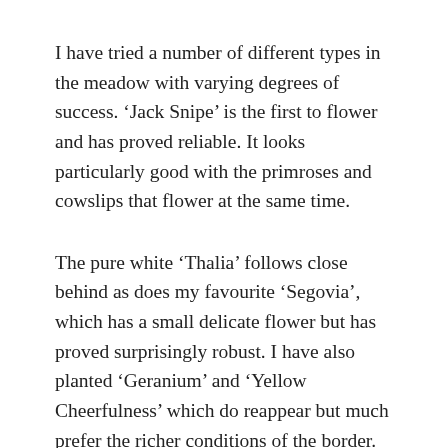I have tried a number of different types in the meadow with varying degrees of success. ‘Jack Snipe’ is the first to flower and has proved reliable. It looks particularly good with the primroses and cowslips that flower at the same time.
The pure white ‘Thalia’ follows close behind as does my favourite ‘Segovia’, which has a small delicate flower but has proved surprisingly robust. I have also planted ‘Geranium’ and ‘Yellow Cheerfulness’ which do reappear but much prefer the richer conditions of the border. At the end of the season in early May comes Narcissus poeticus var recurvus which